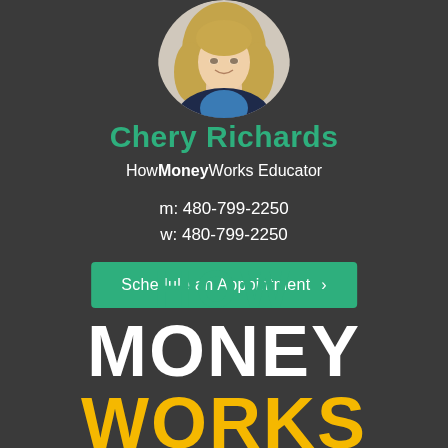[Figure (photo): Circular headshot of Chery Richards, a blonde woman in a dark blazer, smiling]
Chery Richards
HowMoneyWorks Educator
m: 480-799-2250
w: 480-799-2250
Schedule an Appointment >
[Figure (logo): HowMoneyWorks logo: HOW in teal, MONEY in white, WORKS in yellow/gold, large stacked bold text]